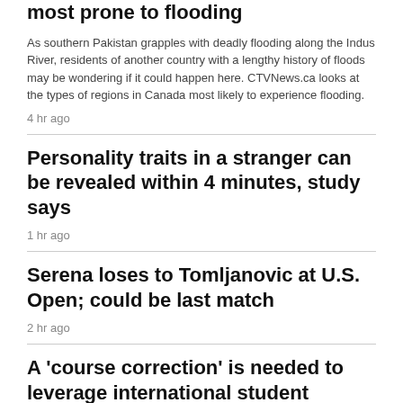most prone to flooding
As southern Pakistan grapples with deadly flooding along the Indus River, residents of another country with a lengthy history of floods may be wondering if it could happen here. CTVNews.ca looks at the types of regions in Canada most likely to experience flooding.
4 hr ago
Personality traits in a stranger can be revealed within 4 minutes, study says
1 hr ago
Serena loses to Tomljanovic at U.S. Open; could be last match
2 hr ago
A 'course correction' is needed to leverage international student workforce in Canada